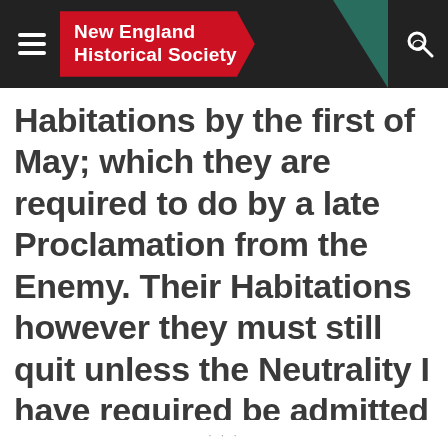New England Historical Society
Habitations by the first of May; which they are required to do by a late Proclamation from the Enemy. Their Habitations however they must still quit unless the Neutrality I have required be admitted by the enemy: For it is better that these parts should